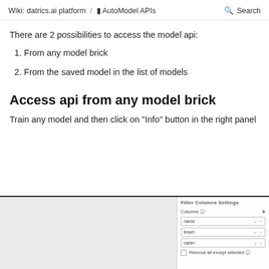Wiki: datrics.ai platform / 🔲 AutoModel APIs   Search
There are 2 possibilities to access the model api:
1. From any model brick
2. From the saved model in the list of models
Access api from any model brick
Train any model and then click on "Info" button in the right panel
[Figure (screenshot): Screenshot of a UI panel titled 'Filter Columns Settings' with Columns field showing name, ticket, cabin fields with dropdown arrows and minus buttons, and a 'Remove all except selected' checkbox at the bottom.]